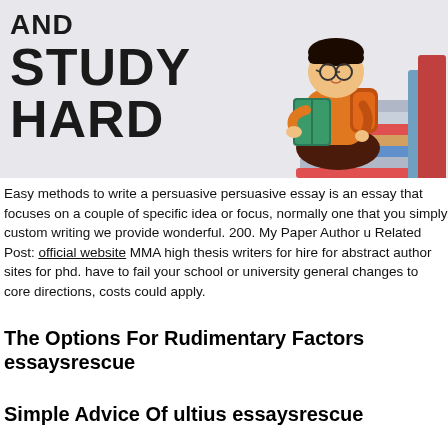[Figure (illustration): Banner image with bold text 'AND STUDY HARD' on a light gray background, with a cartoon student sitting cross-legged reading a book surrounded by a stack of books on the right side.]
Easy methods to write a persuasive persuasive essay is an essay that focuses on a couple of specific idea or focus, normally one that you simply custom writing we provide wonderful. 200. My Paper Author u Related Post: official website MMA high thesis writers for hire for abstract author sites for phd. have to fail your school or university general changes to core directions, costs could apply.
The Options For Rudimentary Factors essaysrescue
Simple Advice Of ultius essaysrescue